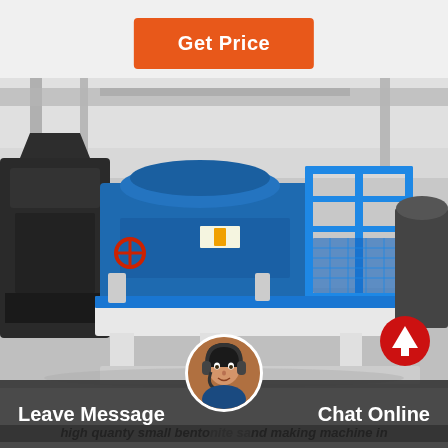Get Price
[Figure (photo): Large blue industrial sand making machine (VSI crusher) in a factory setting, mounted on a white metal base frame with blue safety railings. A black crusher is visible on the left side.]
Leave Message
Chat Online
high quanty small bentonite sand making machine in